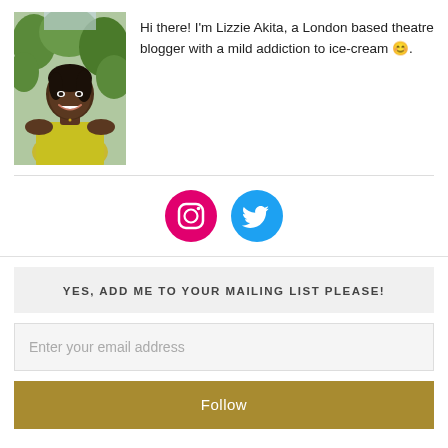[Figure (photo): Portrait photo of a smiling Black woman wearing a yellow off-shoulder top, outdoors with green foliage background]
Hi there! I'm Lizzie Akita, a London based theatre blogger with a mild addiction to ice-cream 😊.
[Figure (infographic): Instagram icon circle (pink/magenta) and Twitter bird icon circle (blue)]
YES, ADD ME TO YOUR MAILING LIST PLEASE!
Enter your email address
Follow